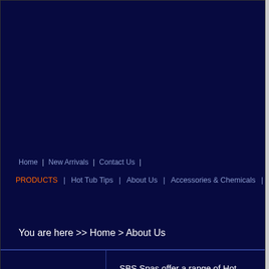Home | New Arrivals | Contact Us |
PRODUCTS | Hot Tub Tips | About Us | Accessories & Chemicals | Swi
You are here >> Home > About Us
SBS Spas offer a range of Hot Tubs also known as Jacuzzis or Spas; as well as Swim Spas, and associated accessories and chemicals.
SBS Spas specialises in the sale and installation of only the highest quality hot tubs imported directly from the Canada.
We have a range of hot tubs available with a selection on show for you to try at our hot tub showroom in Branksome Bournemouth Poole.
We also supply hot tub accessories including parasols, hot tub gazebos, steps, rails, poly-glasses, toys &